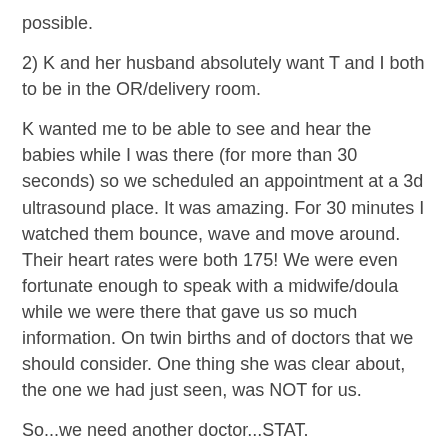possible.
2) K and her husband absolutely want T and I both to be in the OR/delivery room.
K wanted me to be able to see and hear the babies while I was there (for more than 30 seconds) so we scheduled an appointment at a 3d ultrasound place. It was amazing. For 30 minutes I watched them bounce, wave and move around. Their heart rates were both 175! We were even fortunate enough to speak with a midwife/doula while we were there that gave us so much information. On twin births and of doctors that we should consider. One thing she was clear about, the one we had just seen, was NOT for us.
So...we need another doctor...STAT.
The good news...this is the beautiful part of the country that my babies are going to come into the world.
[Figure (photo): Dark silhouette photo of palm trees against a twilight sky]